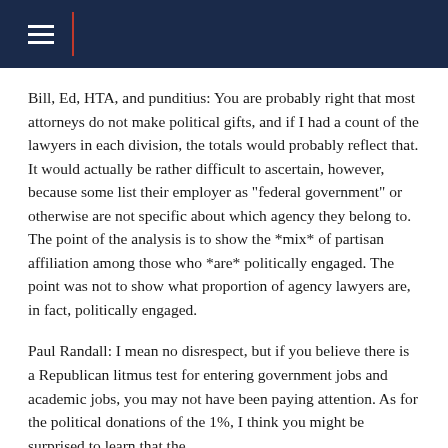≡
Bill, Ed, HTA, and punditius: You are probably right that most attorneys do not make political gifts, and if I had a count of the lawyers in each division, the totals would probably reflect that. It would actually be rather difficult to ascertain, however, because some list their employer as "federal government" or otherwise are not specific about which agency they belong to. The point of the analysis is to show the *mix* of partisan affiliation among those who *are* politically engaged. The point was not to show what proportion of agency lawyers are, in fact, politically engaged.
Paul Randall: I mean no disrespect, but if you believe there is a Republican litmus test for entering government jobs and academic jobs, you may not have been paying attention. As for the political donations of the 1%, I think you might be surprised to learn that the